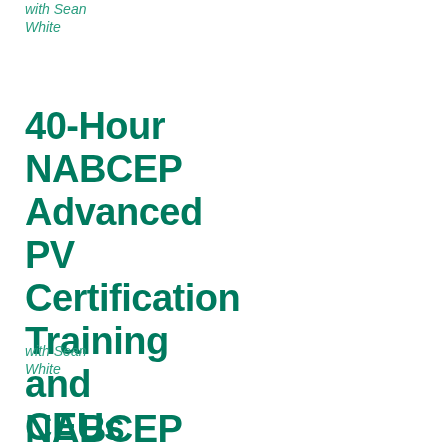with Sean White
40-Hour NABCEP Advanced PV Certification Training and CEUs
with Sean White
NABCEP PV